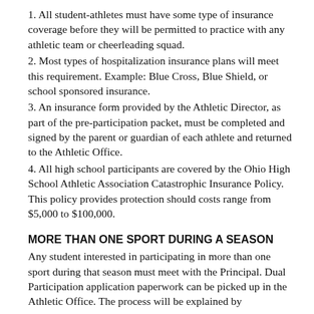1. All student-athletes must have some type of insurance coverage before they will be permitted to practice with any athletic team or cheerleading squad.
2. Most types of hospitalization insurance plans will meet this requirement. Example: Blue Cross, Blue Shield, or school sponsored insurance.
3. An insurance form provided by the Athletic Director, as part of the pre-participation packet, must be completed and signed by the parent or guardian of each athlete and returned to the Athletic Office.
4. All high school participants are covered by the Ohio High School Athletic Association Catastrophic Insurance Policy. This policy provides protection should costs range from $5,000 to $100,000.
MORE THAN ONE SPORT DURING A SEASON
Any student interested in participating in more than one sport during that season must meet with the Principal. Dual Participation application paperwork can be picked up in the Athletic Office. The process will be explained by